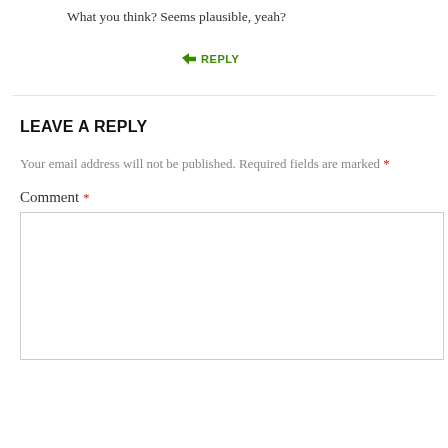What you think? Seems plausible, yeah?
↳ REPLY
LEAVE A REPLY
Your email address will not be published. Required fields are marked *
Comment *